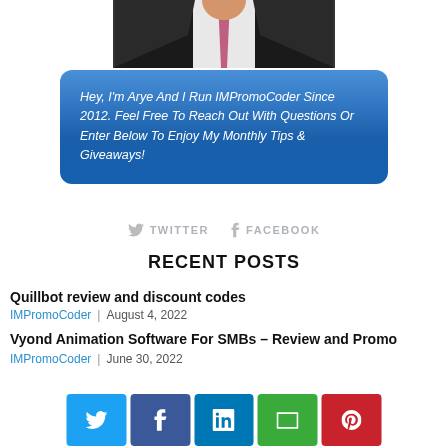[Figure (photo): Partial photo of a man in a dark suit and pink/red tie, cropped at the chest/neck area]
Hey, I'm Arye And I Run IMPromoCoder Since 2012. Feel Free To Reach Out With Questions Or Enter Below To Enjoy My Monthly Tips & Giveaways!
TWITTER   FACEBOOK
RECENT POSTS
Quillbot review and discount codes
IMPromoCoder | August 4, 2022
Vyond Animation Software For SMBs – Review and Promo
IMPromoCoder | June 30, 2022
[Figure (infographic): Social share bar with Twitter, Facebook, LinkedIn, Email, and Pinterest buttons]